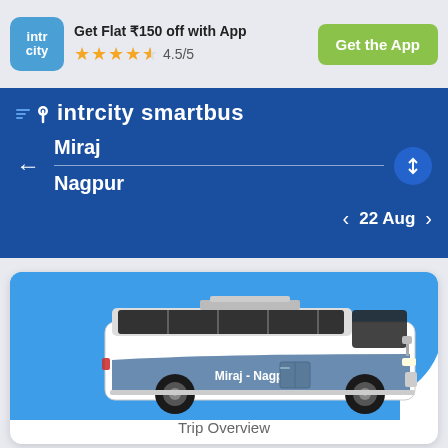[Figure (screenshot): IntrCity logo box with blue rounded square containing 'intr city' text in white]
Get Flat ₹150 off with App
★★★★½ 4.5/5
Get the App
[Figure (logo): IntrCity SmartBus logo with speed lines and location pin icon]
Miraj
Nagpur
22 Aug
[Figure (illustration): Blue and white intercity bus illustration with 'Miraj - Nagpur' text on the side, set against a blue curved background on a white card]
Trip Overview